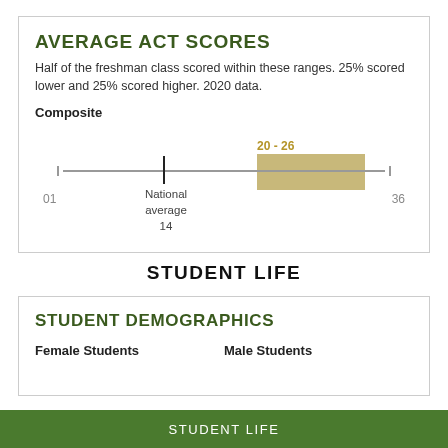AVERAGE ACT SCORES
Half of the freshman class scored within these ranges. 25% scored lower and 25% scored higher. 2020 data.
Composite
[Figure (other): Box plot showing ACT Composite score range 20-26 (highlighted in gold), with national average at 14 marked by a vertical line. Scale from 01 to 36.]
STUDENT LIFE
STUDENT DEMOGRAPHICS
Female Students    Male Students
STUDENT LIFE